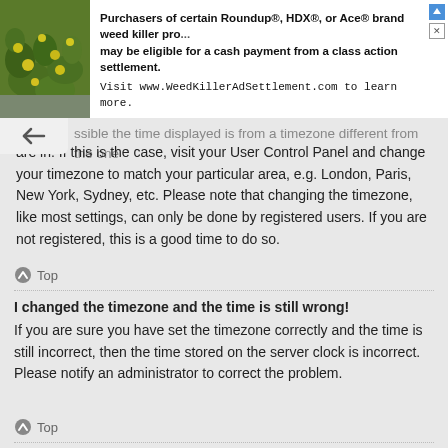[Figure (screenshot): Advertisement banner with photo of flowering plant and text about Roundup class action settlement]
ssible the time displayed is from a timezone different from the one are in. If this is the case, visit your User Control Panel and change your timezone to match your particular area, e.g. London, Paris, New York, Sydney, etc. Please note that changing the timezone, like most settings, can only be done by registered users. If you are not registered, this is a good time to do so.
Top
I changed the timezone and the time is still wrong!
If you are sure you have set the timezone correctly and the time is still incorrect, then the time stored on the server clock is incorrect. Please notify an administrator to correct the problem.
Top
My language is not in the list!
Either the administrator has not installed your language or nobody has translated this board into your language. Try asking a board administrator if they can install the language pack you need. If the language pack does not exist, feel free to create a new translation. More information can be found at the phpBB® website.